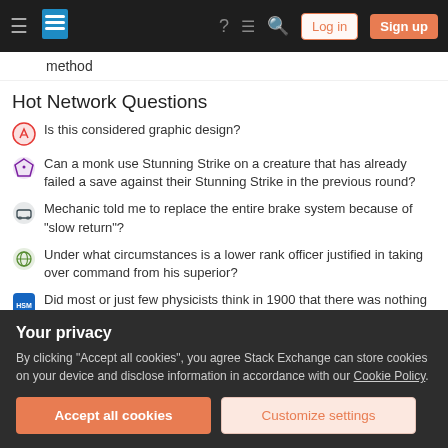Stack Exchange navigation bar with Log in and Sign up buttons
method
Hot Network Questions
Is this considered graphic design?
Can a monk use Stunning Strike on a creature that has already failed a save against their Stunning Strike in the previous round?
Mechanic told me to replace the entire brake system because of "slow return"?
Under what circumstances is a lower rank officer justified in taking over command from his superior?
Did most or just few physicists think in 1900 that there was nothing important left to discover?
Your privacy
By clicking "Accept all cookies", you agree Stack Exchange can store cookies on your device and disclose information in accordance with our Cookie Policy.
Accept all cookies  Customize settings
Double fork() - why?